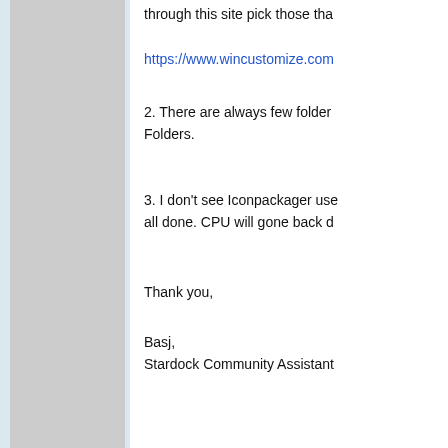through this site pick those tha...
https://www.wincustomize.com...
2. There are always few folder... Folders.
3. I don't see Iconpackager use... all done. CPU will gone back d...
Thank you,
Basj,
Stardock Community Assistant...
Reply #6    December 9, 2020 12...
paulosilva8200
Join Date 12/2020
6 download free icons pack is f... it's free. really, please don't